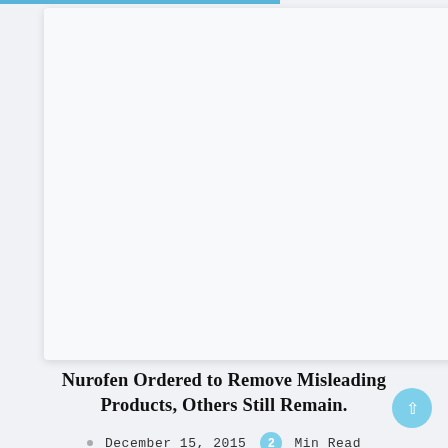[Figure (other): Light gray card/image placeholder box]
Nurofen Ordered to Remove Misleading Products, Others Still Remain.
December 15, 2015  2 Min Read
Marketing your product to different demographics in order to increase your marketshare is a trick as old as business itself. You can see it with nearly any product that's got...
Business